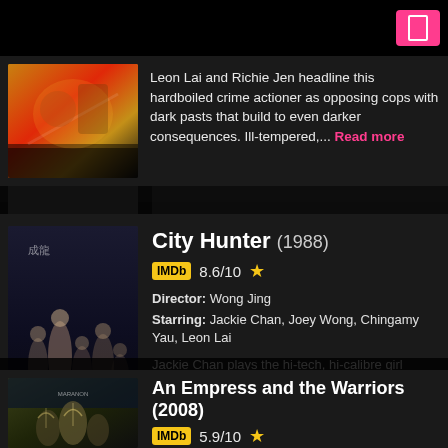[Figure (screenshot): Top portion of a movie listing app showing a film poster (orange/red tones) and description text for a crime action film starring Leon Lai and Richie Jen]
Leon Lai and Richie Jen headline this hardboiled crime actioner as opposing cops with dark pasts that build to even darker consequences. Ill-tempered,... Read more
[Figure (photo): Movie poster for City Hunter (1988) showing martial arts figures with Chinese text and pink title text]
City Hunter (1988)
IMDb 8.6/10 ★
Director: Wong Jing
Starring: Jackie Chan, Joey Wong, Chingamy Yau, Leon Lai
Jackie Chan plays the hi-tech, hi-calibre girl chasing detective on the trail of a gang of ruthless international terrorists, in this hilarious movie... Read more
[Figure (photo): Movie poster for An Empress and the Warriors (2008) showing warriors with bows and arrows in muted tones]
An Empress and the Warriors (2008)
IMDb 5.9/10 ★